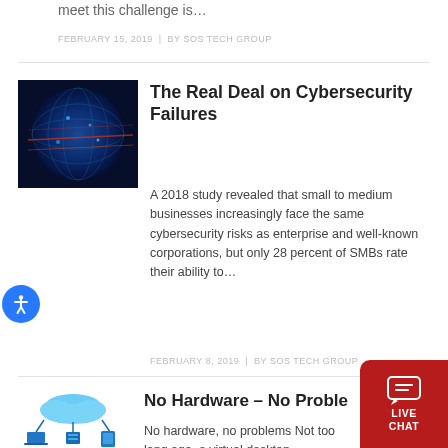meet this challenge is…
FEBRUARY 15, 2019 | BY SOS TECH GROUP
The Real Deal on Cybersecurity Failures
A 2018 study revealed that small to medium businesses increasingly face the same cybersecurity risks as enterprise and well-known corporations, but only 28 percent of SMBs rate their ability to…
FEBRUARY 8, 2019 | BY SOS TECH GROUP
No Hardware – No Proble…
No hardware, no problems Not too long ago, a virtual desktop environment was